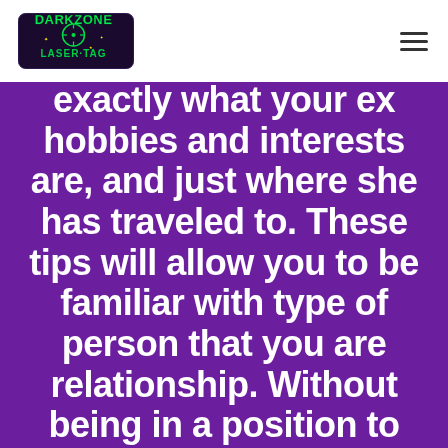DarkZone Laser Tag [logo]
exactly what your ex hobbies and interests are, and just where she has traveled to. These tips will allow you to be familiar with type of person that you are relationship. Without being in a position to properly discuss